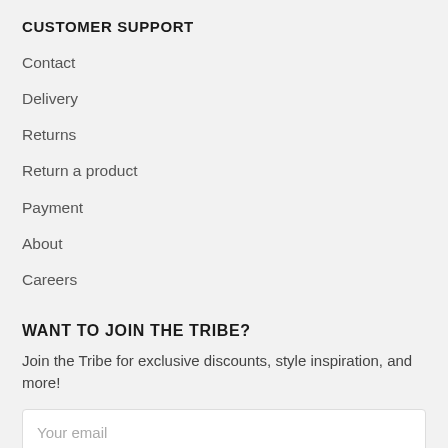CUSTOMER SUPPORT
Contact
Delivery
Returns
Return a product
Payment
About
Careers
WANT TO JOIN THE TRIBE?
Join the Tribe for exclusive discounts, style inspiration, and more!
Your email